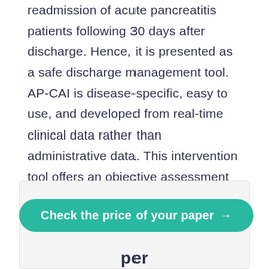readmission of acute pancreatitis patients following 30 days after discharge. Hence, it is presented as a safe discharge management tool. AP-CAI is disease-specific, easy to use, and developed from real-time clinical data rather than administrative data. This intervention tool offers an objective assessment of the condition of a patient in real-time and shows the score's progress across various periods during hospitalization. The tool is clinically significant for identifying a suitable time for discharging acute pancreatitis patients from an inpatient setting safely to reduce readmission.
[Figure (other): A call-to-action banner with a teal/green rounded button labeled 'Check the price of your paper →' and partial text below it]